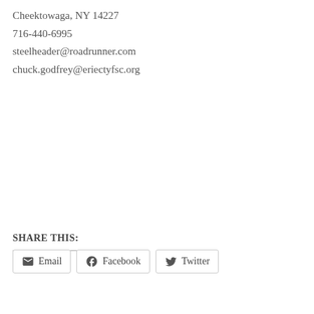Cheektowaga, NY 14227
716-440-6995
steelheader@roadrunner.com
chuck.godfrey@eriectyfsc.org
SHARE THIS:
Email  Facebook  Twitter